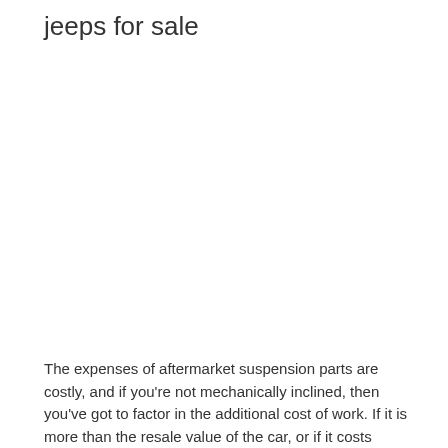jeeps for sale
The expenses of aftermarket suspension parts are costly, and if you're not mechanically inclined, then you've got to factor in the additional cost of work. If it is more than the resale value of the car, or if it costs